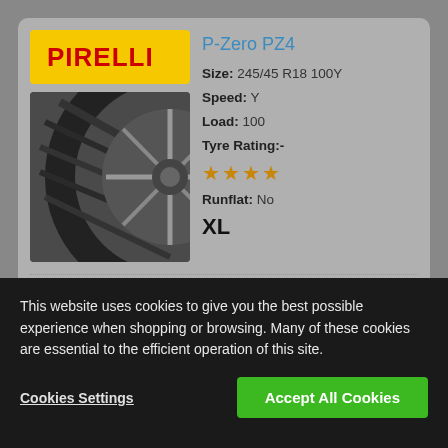[Figure (logo): Pirelli logo on yellow background]
[Figure (photo): Pirelli P-Zero PZ4 tyre photo showing tread and sidewall]
P-Zero PZ4
Size: 245/45 R18 100Y
Speed: Y
Load: 100
Tyre Rating:- ★★★★
Runflat: No
XL
Pirelli was Formula 1 technology
TYRE LABEL ℹ
This website uses cookies to give you the best possible experience when shopping or browsing. Many of these cookies are essential to the efficient operation of this site.
Cookies Settings
Accept All Cookies